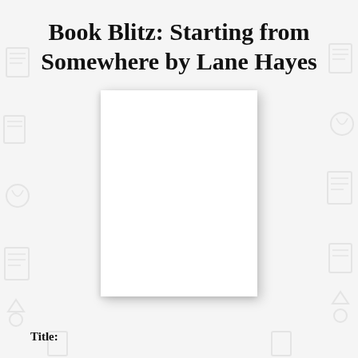Book Blitz: Starting from Somewhere by Lane Hayes
[Figure (illustration): A blank white book cover placeholder with drop shadow, representing the book cover for 'Starting from Somewhere by Lane Hayes']
Title: